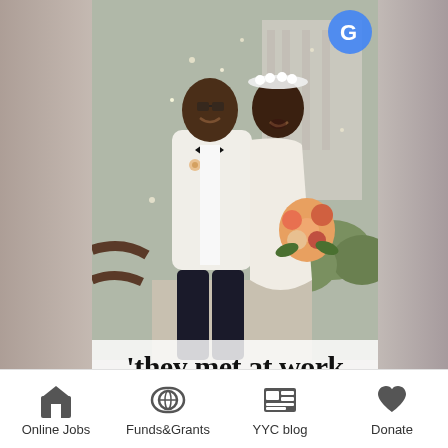[Figure (photo): Wedding photo of a smiling couple walking together, groom in white blazer and black bow tie, bride in white dress holding colorful bouquet, confetti falling, outdoor setting]
'they met at work
Online Jobs   Funds&Grants   YYC blog   Donate